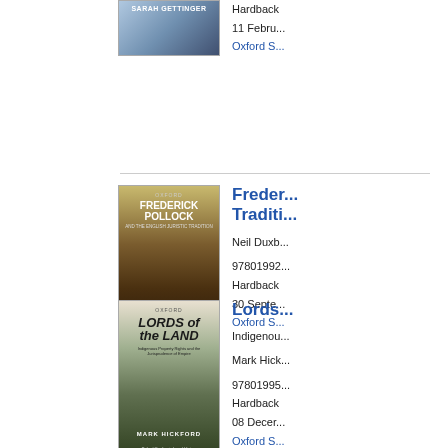[Figure (illustration): Book cover — top of page, partially visible, blue/grey mountainous or map-like image]
Hardback
11 February
Oxford S...
[Figure (illustration): Book cover for 'Frederick Pollock and the English Juristic Tradition' by Neil Duxbury, showing moorland landscape]
Frederick Pollock and the English Juristic Tradition
Neil Duxb...
97801992...
Hardback
30 Septe...
Oxford S...
[Figure (illustration): Book cover for 'Lords of the Land: Indigenous Property Rights and the Jurisprudence of Empire' by Mark Hickford]
Lords of the Land
Indigenous...
Mark Hick...
97801995...
Hardback
08 Decer...
Oxford S...